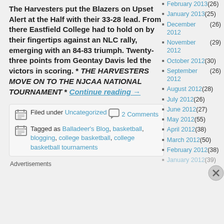The Harvesters put the Blazers on Upset Alert at the Half with their 33-28 lead. From there Eastfield College had to hold on by their fingertips against an NLC rally, emerging with an 84-83 triumph. Twenty-three points from Geontay Davis led the victors in scoring. * THE HARVESTERS MOVE ON TO THE NJCAA NATIONAL TOURNAMENT * Continue reading →
Filed under Uncategorized   2 Comments
Tagged as Balladeer's Blog, basketball, blogging, college basketball, college basketball tournaments
Advertisements
February 2013 (26)
January 2013 (25)
December 2012 (26)
November 2012 (29)
October 2012 (30)
September 2012 (26)
August 2012 (28)
July 2012 (26)
June 2012 (27)
May 2012 (55)
April 2012 (38)
March 2012 (50)
February 2012 (38)
January 2012 (39)